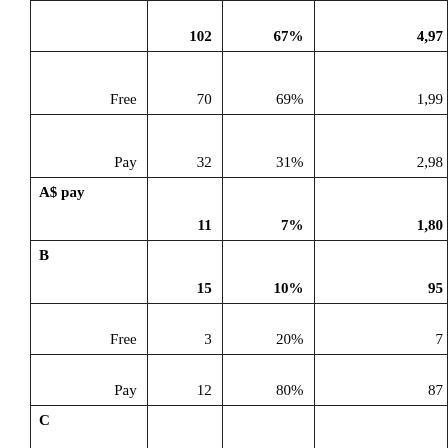|  | Count | % | Value |
| --- | --- | --- | --- |
|  | 102 | 67% | 4,97… |
| Free | 70 | 69% | 1,99… |
| Pay | 32 | 31% | 2,98… |
| A$ pay | 11 | 7% | 1,80… |
| B | 15 | 10% | 95… |
| Free | 3 | 20% | 7… |
| Pay | 12 | 80% | 87… |
| C | 8 | 5% | 36… |
| Pay | 2 | 25% | 8… |
| Unk | 6 | 75% | 28… |
| D |  |  |  |